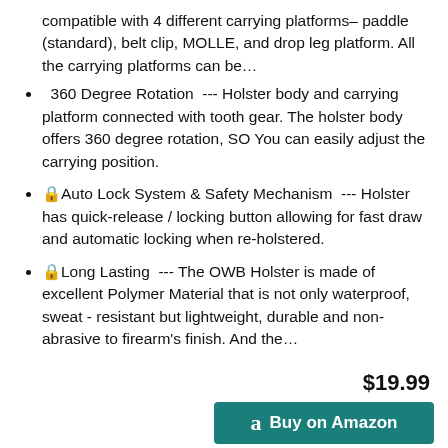compatible with 4 different carrying platforms– paddle (standard), belt clip, MOLLE, and drop leg platform. All the carrying platforms can be…
360 Degree Rotation --- Holster body and carrying platform connected with tooth gear. The holster body offers 360 degree rotation, SO You can easily adjust the carrying position.
🔒Auto Lock System & Safety Mechanism --- Holster has quick-release / locking button allowing for fast draw and automatic locking when re-holstered.
🔒Long Lasting --- The OWB Holster is made of excellent Polymer Material that is not only waterproof, sweat - resistant but lightweight, durable and non-abrasive to firearm's finish. And the…
$19.99
Buy on Amazon